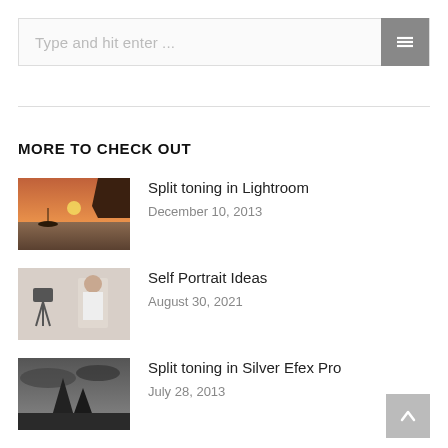Type and hit enter ...
MORE TO CHECK OUT
Split toning in Lightroom
December 10, 2013
Self Portrait Ideas
August 30, 2021
Split toning in Silver Efex Pro
July 28, 2013
Canon EOS 7D vs EOS 70D Camera
November 27, 2018